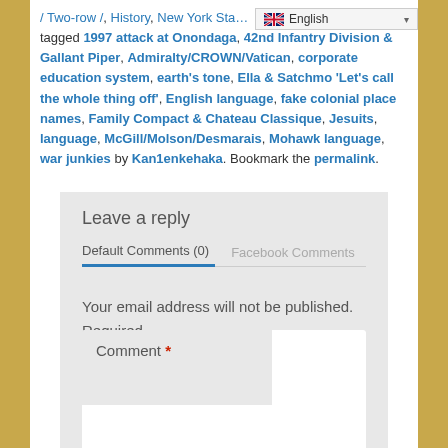/ Two-row /, History, New York Sta… tagged 1997 attack at Onondaga, 42nd Infantry Division & Gallant Piper, Admiralty/CROWN/Vatican, corporate education system, earth's tone, Ella & Satchmo 'Let's call the whole thing off', English language, fake colonial place names, Family Compact & Chateau Classique, Jesuits, language, McGill/Molson/Desmarais, Mohawk language, war junkies by Kan1enkehaka. Bookmark the permalink.
Leave a reply
Default Comments (0)	Facebook Comments
Your email address will not be published. Required fields are marked *
Comment *